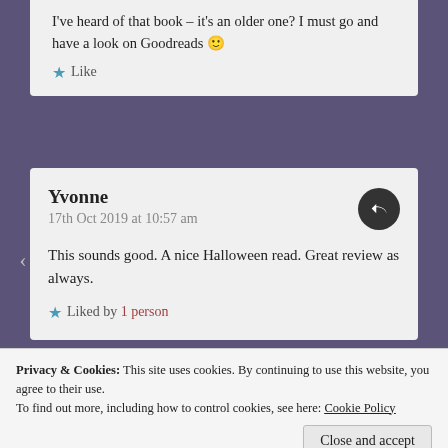I've heard of that book – it's an older one? I must go and have a look on Goodreads 🙂
★ Like
Yvonne
17th Oct 2019 at 10:57 am
This sounds good. A nice Halloween read. Great review as always.
★ Liked by 1 person
Privacy & Cookies: This site uses cookies. By continuing to use this website, you agree to their use.
To find out more, including how to control cookies, see here: Cookie Policy
Close and accept
Thank you Yvonne 😀